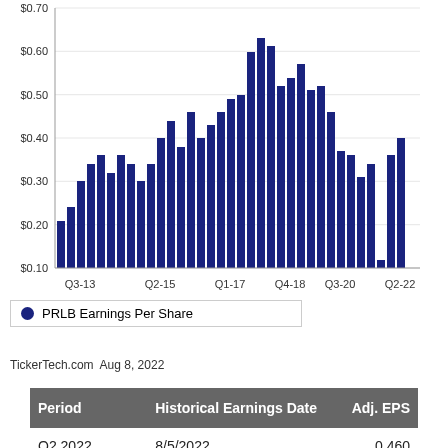[Figure (bar-chart): PRLB Earnings Per Share]
TickerTech.com  Aug 8, 2022
| Period | Historical Earnings Date | Adj. EPS |
| --- | --- | --- |
| Q2 2022 | 8/5/2022 | 0.460 |
| Q1 2022 | 5/6/2022 | 0.380 |
| Q4 2021 | 2/11/2022 | 0.410 |